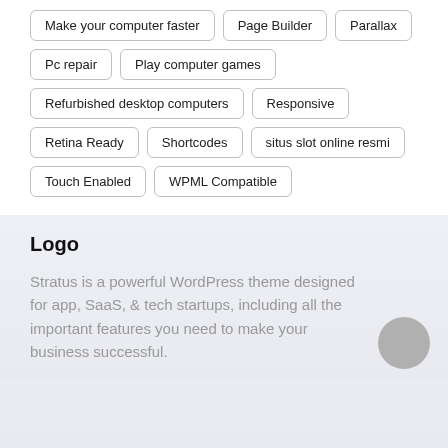Make your computer faster
Page Builder
Parallax
Pc repair
Play computer games
Refurbished desktop computers
Responsive
Retina Ready
Shortcodes
situs slot online resmi
Touch Enabled
WPML Compatible
Logo
Stratus is a powerful WordPress theme designed for app, SaaS, & tech startups, including all the important features you need to make your business successful.